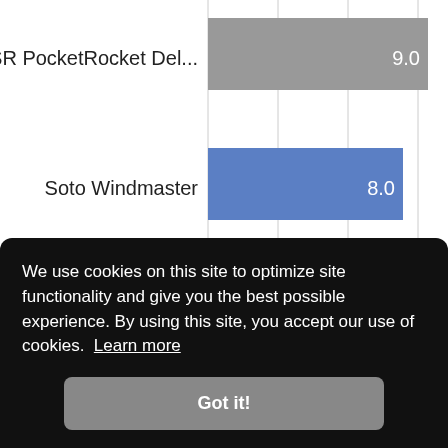[Figure (bar-chart): Stove ratings]
We use cookies on this site to optimize site functionality and give you the best possible experience. By using this site, you accept our use of cookies. Learn more